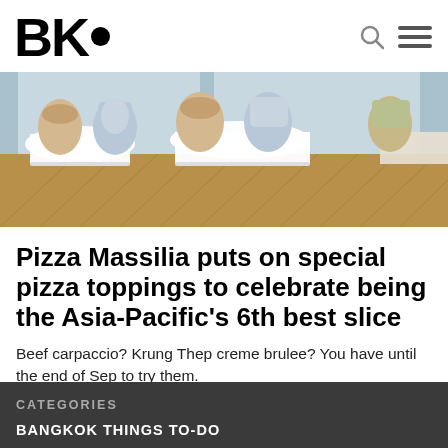BK•
[Figure (photo): Interior of a restaurant with white tablecloths, ornate chairs with blue floral upholstery, and parquet wood flooring]
Pizza Massilia puts on special pizza toppings to celebrate being the Asia-Pacific's 6th best slice
Beef carpaccio? Krung Thep creme brulee? You have until the end of Sep to try them.
View All News >
CATEGORIES
BANGKOK THINGS TO-DO